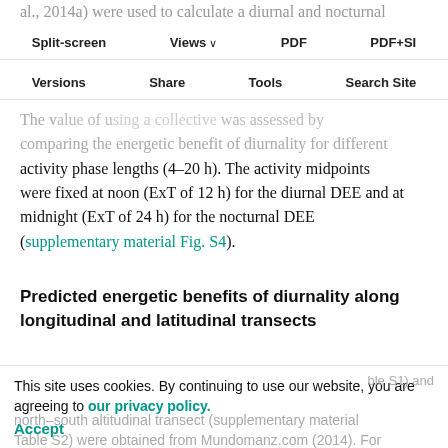al., 2014a) were used to calculate a diurnal and nocturnal activity phase and normalize the total activity to 1.
Split-screen | Views | PDF | PDF+SI
Versions | Share | Tools | Search Site
The value of using a collective was assessed by comparing the energetic benefit of diurnality for different activity phase lengths (4–20 h). The activity midpoints were fixed at noon (ExT of 12 h) for the diurnal DEE and at midnight (ExT of 24 h) for the nocturnal DEE (supplementary material Fig. S4).
Predicted energetic benefits of diurnality along longitudinal and latitudinal transects
Daily maximal and minimal temperatures in different European geographical locations on an east–west transect (supplementary material Table S1) and north–south altitudinal transect (supplementary material Table S2) were obtained from Mundomanz.com (2014). For
This site uses cookies. By continuing to use our website, you are agreeing to our privacy policy. Accept